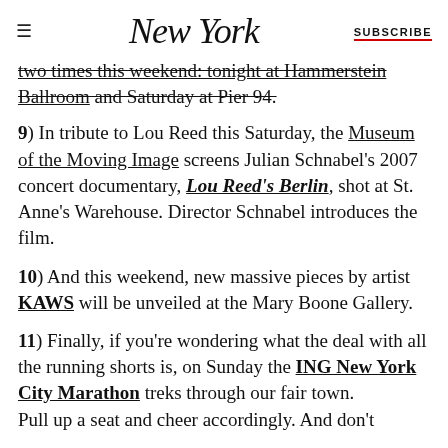NEW YORK  |  SUBSCRIBE
two times this weekend: tonight at Hammerstein Ballroom and Saturday at Pier 94.
9) In tribute to Lou Reed this Saturday, the Museum of the Moving Image screens Julian Schnabel's 2007 concert documentary, Lou Reed's Berlin, shot at St. Anne's Warehouse. Director Schnabel introduces the film.
10) And this weekend, new massive pieces by artist KAWS will be unveiled at the Mary Boone Gallery.
11) Finally, if you're wondering what the deal with all the running shorts is, on Sunday the ING New York City Marathon treks through our fair town. Pull up a seat and cheer accordingly. And don't